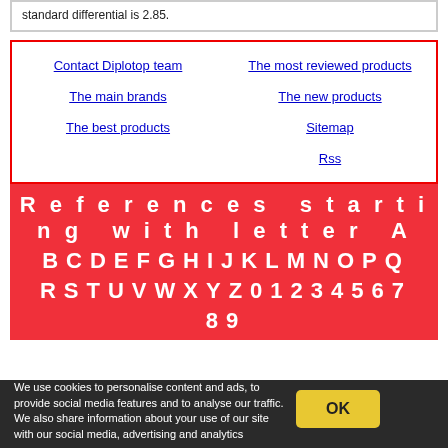standard differential is 2.85.
Contact Diplotop team
The most reviewed products
The main brands
The new products
The best products
Sitemap
Rss
References starting with letter A B C D E F G H I J K L M N O P Q R S T U V W X Y Z 0 1 2 3 4 5 6 7 8 9
We use cookies to personalise content and ads, to provide social media features and to analyse our traffic. We also share information about your use of our site with our social media, advertising and analytics